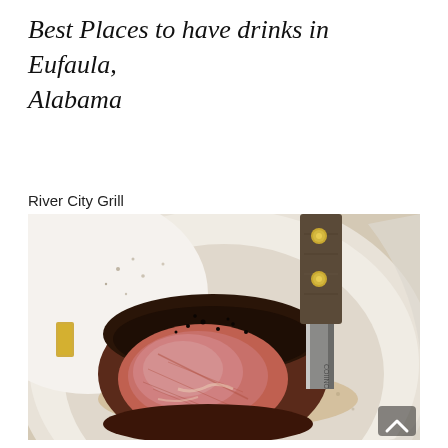Best Places to have drinks in Eufaula, Alabama
River City Grill
[Figure (photo): Close-up photo of a thick cut of cooked steak on a white plate with a knife, showing a medium-rare interior with a dark pepper crust, juices on the plate, and a gold accent element visible on the left.]